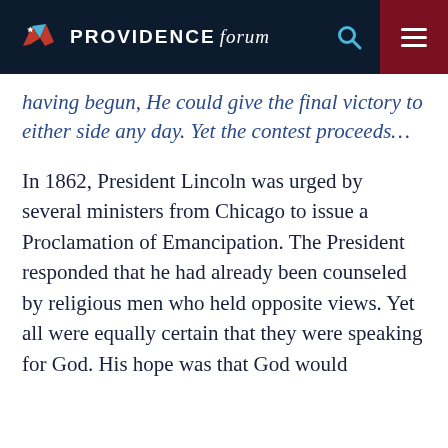PROVIDENCE forum
having begun, He could give the final victory to either side any day. Yet the contest proceeds…
In 1862, President Lincoln was urged by several ministers from Chicago to issue a Proclamation of Emancipation. The President responded that he had already been counseled by religious men who held opposite views. Yet all were equally certain that they were speaking for God. His hope was that God would